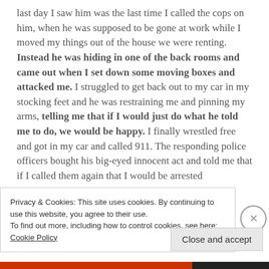last day I saw him was the last time I called the cops on him, when he was supposed to be gone at work while I moved my things out of the house we were renting. Instead he was hiding in one of the back rooms and came out when I set down some moving boxes and attacked me. I struggled to get back out to my car in my stocking feet and he was restraining me and pinning my arms, telling me that if I would just do what he told me to do, we would be happy. I finally wrestled free and got in my car and called 911. The responding police officers bought his big-eyed innocent act and told me that if I called them again that I would be arrested
Privacy & Cookies: This site uses cookies. By continuing to use this website, you agree to their use. To find out more, including how to control cookies, see here: Cookie Policy